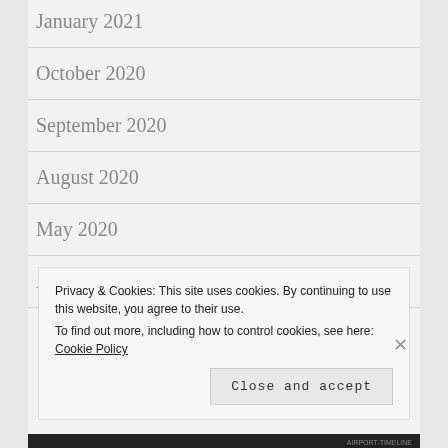January 2021
October 2020
September 2020
August 2020
May 2020
April 2020
Privacy & Cookies: This site uses cookies. By continuing to use this website, you agree to their use.
To find out more, including how to control cookies, see here: Cookie Policy
Close and accept
AIRPORT-TIMELINE